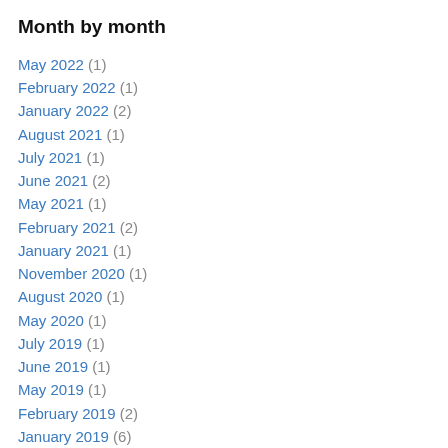Month by month
May 2022 (1)
February 2022 (1)
January 2022 (2)
August 2021 (1)
July 2021 (1)
June 2021 (2)
May 2021 (1)
February 2021 (2)
January 2021 (1)
November 2020 (1)
August 2020 (1)
May 2020 (1)
July 2019 (1)
June 2019 (1)
May 2019 (1)
February 2019 (2)
January 2019 (6)
October 2018 (1)